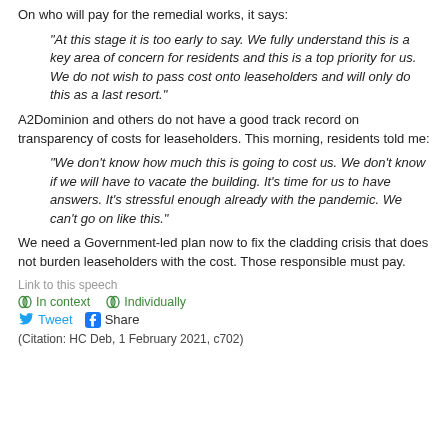On who will pay for the remedial works, it says:
“At this stage it is too early to say. We fully understand this is a key area of concern for residents and this is a top priority for us. We do not wish to pass cost onto leaseholders and will only do this as a last resort.”
A2Dominion and others do not have a good track record on transparency of costs for leaseholders. This morning, residents told me:
“We don’t know how much this is going to cost us. We don’t know if we will have to vacate the building. It’s time for us to have answers. It’s stressful enough already with the pandemic. We can’t go on like this.”
We need a Government-led plan now to fix the cladding crisis that does not burden leaseholders with the cost. Those responsible must pay.
Link to this speech
In context   Individually
Tweet   Share
(Citation: HC Deb, 1 February 2021, c702)